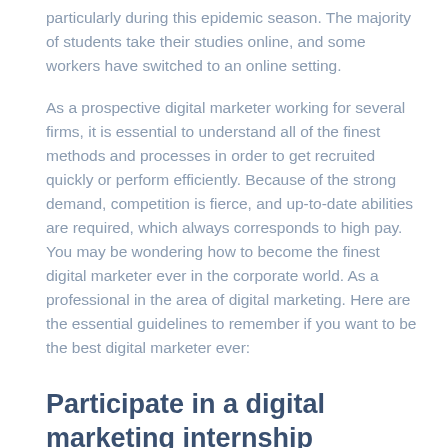particularly during this epidemic season. The majority of students take their studies online, and some workers have switched to an online setting.
As a prospective digital marketer working for several firms, it is essential to understand all of the finest methods and processes in order to get recruited quickly or perform efficiently. Because of the strong demand, competition is fierce, and up-to-date abilities are required, which always corresponds to high pay. You may be wondering how to become the finest digital marketer ever in the corporate world. As a professional in the area of digital marketing. Here are the essential guidelines to remember if you want to be the best digital marketer ever:
Participate in a digital marketing internship
If you have a strong interest in the area but lack experience, internships are necessary and will be of great assistance to you. Similar to internships in many professions, it will help trainees enhance their skills and experience, understand their capacity,